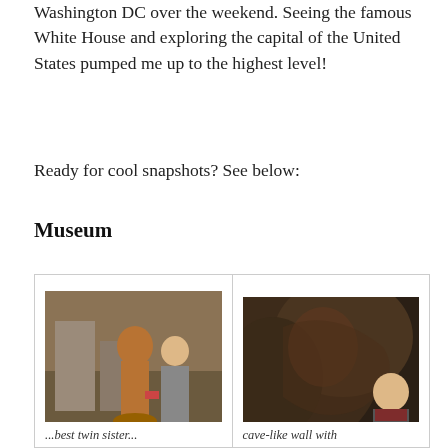Washington DC over the weekend. Seeing the famous White House and exploring the capital of the United States pumped me up to the highest level!
Ready for cool snapshots? See below:
Museum
[Figure (photo): A woman posing next to a bronze statue inside a museum]
[Figure (photo): A woman standing in front of a cave-like wall, dark environment, timestamp visible 12/22/2013]
cave-like wall with